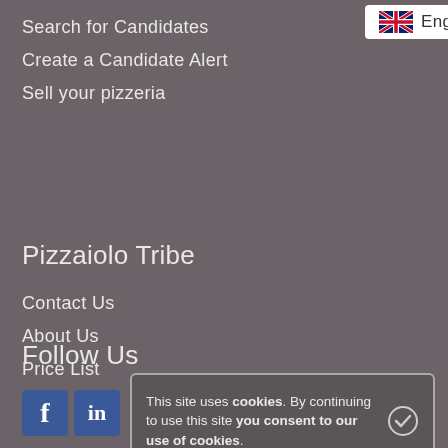Search for Candidates
[Figure (other): UK flag with English language selector badge showing 'English >']
Create a Candidate Alert
Sell your pizzeria
Pizzaiolo Tribe
Contact Us
About Us
Price List
Follow Us
[Figure (other): Social media icons: Facebook (blue 'f' square), another icon partially visible, YouTube partially visible]
This site uses cookies. By continuing to use this site you consent to our use of cookies.